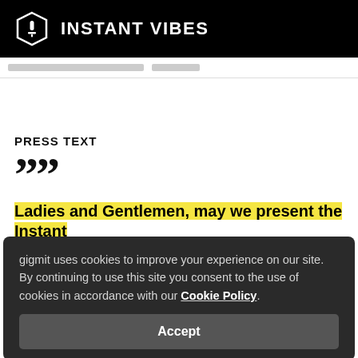INSTANT VIBES
PRESS TEXT
““
Ladies and Gentlemen, may we present the Instant Vibes
R
gigmit uses cookies to improve your experience on our site. By continuing to use this site you consent to the use of cookies in accordance with our Cookie Policy.
Accept
Help